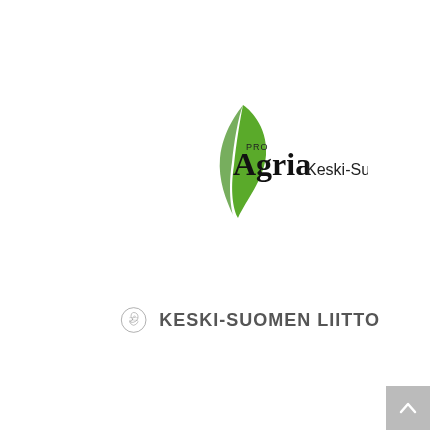[Figure (logo): ProAgria Keski-Suomi logo with green swoosh/leaf graphic and text 'PRO Agria Keski-Suomi']
[Figure (logo): Keski-Suomen Liitto logo with circular emblem showing a profile face/globe and text 'KESKI-SUOMEN LIITTO']